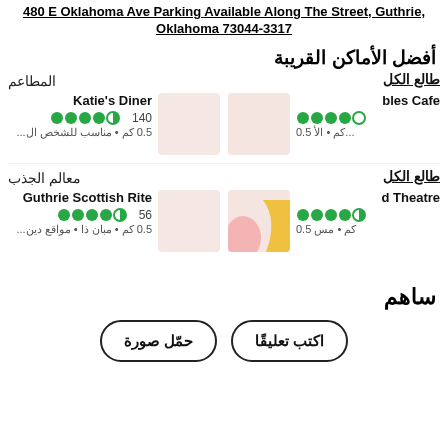480 E Oklahoma Ave Parking Available Along The Street, Guthrie, Oklahoma 73044-3317
أفضل الأماكن القريبة
المطاعم
طالع الكل
Katie's Diner - 140 - 0.5 كم • مناسب للشخص ال...
bles Cafe - 0.5 كم • الأ...
معالم الجذب
طالع الكل
Guthrie Scottish Rite - 56 - 0.5 كم • مبان ذا • مواقع دين...
d Theatre - 0.5 كم • مس
ساهم
اكتب تعليقًا
حمّل صورة